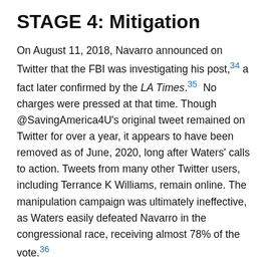STAGE 4: Mitigation
On August 11, 2018, Navarro announced on Twitter that the FBI was investigating his post,34 a fact later confirmed by the LA Times.35  No charges were pressed at that time. Though @SavingAmerica4U's original tweet remained on Twitter for over a year, it appears to have been removed as of June, 2020, long after Waters' calls to action. Tweets from many other Twitter users, including Terrance K Williams, remain online. The manipulation campaign was ultimately ineffective, as Waters easily defeated Navarro in the congressional race, receiving almost 78% of the vote.36
STAGE 5: Adjustments by Manipulators to New Environment